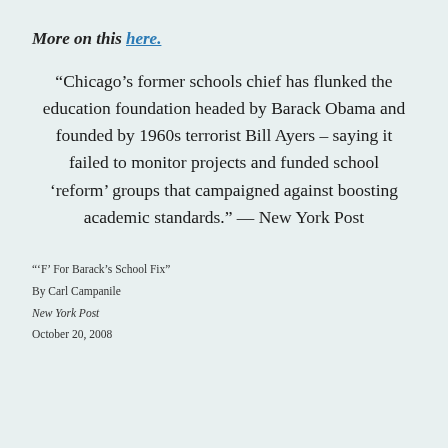More on this here.
“Chicago’s former schools chief has flunked the education foundation headed by Barack Obama and founded by 1960s terrorist Bill Ayers – saying it failed to monitor projects and funded school ‘reform’ groups that campaigned against boosting academic standards.” — New York Post
“‘F’ For Barack’s School Fix”
By Carl Campanile
New York Post
October 20, 2008